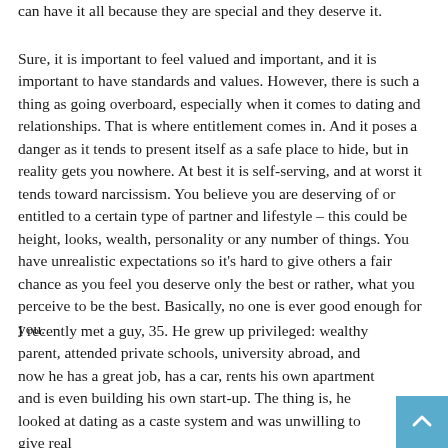can have it all because they are special and they deserve it.
Sure, it is important to feel valued and important, and it is important to have standards and values. However, there is such a thing as going overboard, especially when it comes to dating and relationships. That is where entitlement comes in. And it poses a danger as it tends to present itself as a safe place to hide, but in reality gets you nowhere. At best it is self-serving, and at worst it tends toward narcissism. You believe you are deserving of or entitled to a certain type of partner and lifestyle – this could be height, looks, wealth, personality or any number of things. You have unrealistic expectations so it's hard to give others a fair chance as you feel you deserve only the best or rather, what you perceive to be the best. Basically, no one is ever good enough for you.
I recently met a guy, 35. He grew up privileged: wealthy parent, attended private schools, university abroad, and now he has a great job, has a car, rents his own apartment and is even building his own start-up. The thing is, he looked at dating as a caste system and was unwilling to give real